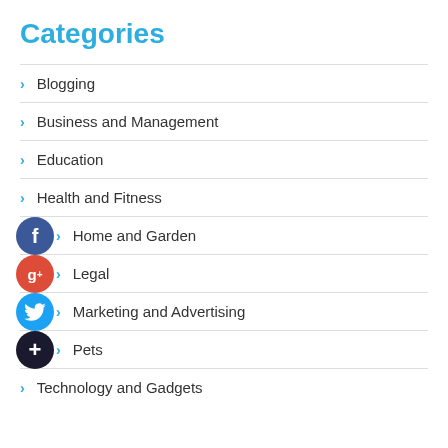Categories
Blogging
Business and Management
Education
Health and Fitness
Home and Garden
Legal
Marketing and Advertising
Pets
Technology and Gadgets